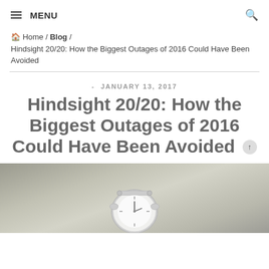MENU
Home / Blog / Hindsight 20/20: How the Biggest Outages of 2016 Could Have Been Avoided
- JANUARY 13, 2017
Hindsight 20/20: How the Biggest Outages of 2016 Could Have Been Avoided
[Figure (photo): Photo of an alarm clock on a gray background, partially cropped at the bottom of the page]